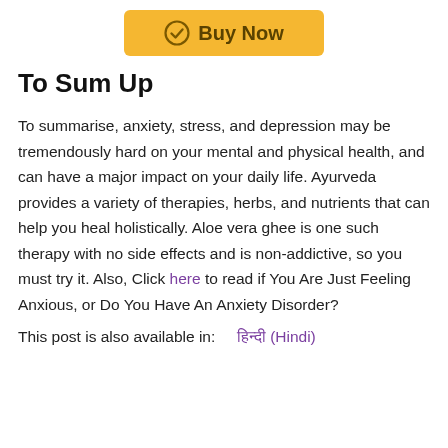[Figure (other): Yellow 'Buy Now' button with checkmark circle icon]
To Sum Up
To summarise, anxiety, stress, and depression may be tremendously hard on your mental and physical health, and can have a major impact on your daily life. Ayurveda provides a variety of therapies, herbs, and nutrients that can help you heal holistically. Aloe vera ghee is one such therapy with no side effects and is non-addictive, so you must try it. Also, Click here to read if You Are Just Feeling Anxious, or Do You Have An Anxiety Disorder?
This post is also available in:  हिन्दी (Hindi)